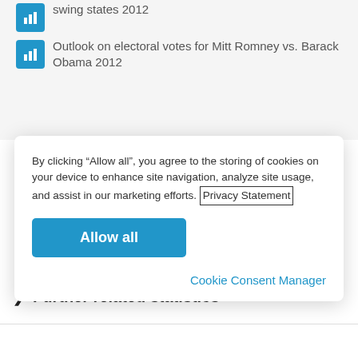swing states 2012
Outlook on electoral votes for Mitt Romney vs. Barack Obama 2012
By clicking “Allow all”, you agree to the storing of cookies on your device to enhance site navigation, analyze site usage, and assist in our marketing efforts. Privacy Statement
Allow all
Cookie Consent Manager
Super PACs Contributions & Expenditures
Further related statistics